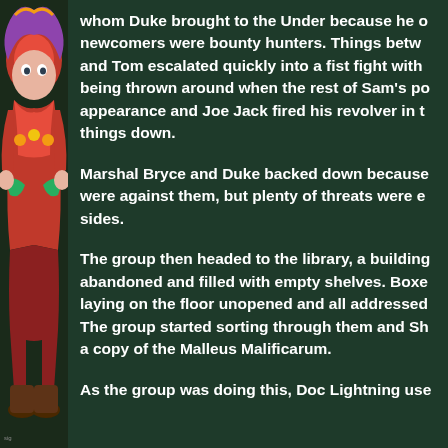[Figure (illustration): Colorful illustrated character on the left side of the page, partial view showing a fantastical or comic-book style figure with red and multicolored elements against a dark green background.]
whom Duke brought to the Under because he o newcomers were bounty hunters. Things betw and Tom escalated quickly into a fist fight with being thrown around when the rest of Sam's po appearance and Joe Jack fired his revolver in t things down.
Marshal Bryce and Duke backed down because were against them, but plenty of threats were e sides.
The group then headed to the library, a building abandoned and filled with empty shelves. Boxe laying on the floor unopened and all addressed The group started sorting through them and Sh a copy of the Malleus Malificarum.
As the group was doing this, Doc Lightning use